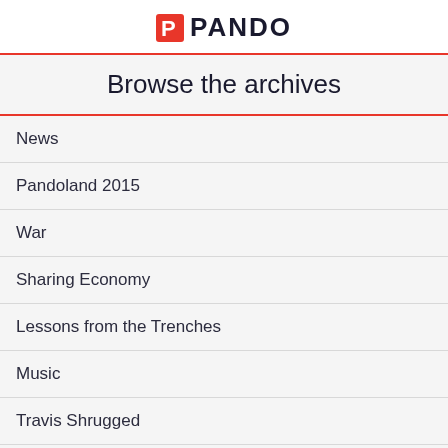PANDO
Browse the archives
News
Pandoland 2015
War
Sharing Economy
Lessons from the Trenches
Music
Travis Shrugged
Legal Affairs
White People
Inside Baseball
Help